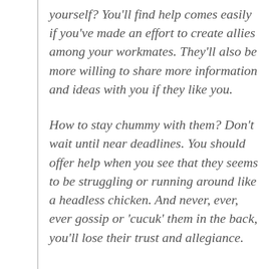yourself? You'll find help comes easily if you've made an effort to create allies among your workmates. They'll also be more willing to share more information and ideas with you if they like you.
How to stay chummy with them? Don't wait until near deadlines. You should offer help when you see that they seems to be struggling or running around like a headless chicken. And never, ever, ever gossip or 'cucuk' them in the back, you'll lose their trust and allegiance.
3.  The Big Guys Ally